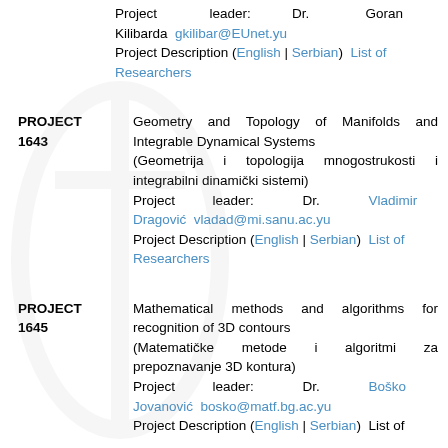Project leader: Dr. Goran Kilibarda gkilibar@EUnet.yu Project Description (English | Serbian) List of Researchers
PROJECT 1643
Geometry and Topology of Manifolds and Integrable Dynamical Systems (Geometrija i topologija mnogostrukosti i integrabilni dinamički sistemi) Project leader: Dr. Vladimir Dragović vladad@mi.sanu.ac.yu Project Description (English | Serbian) List of Researchers
PROJECT 1645
Mathematical methods and algorithms for recognition of 3D contours (Matematičke metode i algoritmi za prepoznavanje 3D kontura) Project leader: Dr. Boško Jovanović bosko@matf.bg.ac.yu Project Description (English | Serbian) List of